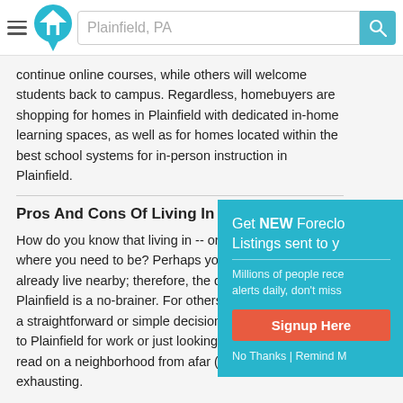[Figure (screenshot): Website header with hamburger menu, house logo icon, search bar showing 'Plainfield, PA', and teal search button with magnifying glass icon]
continue online courses, while others will welcome students back to campus. Regardless, homebuyers are shopping for homes in Plainfield with dedicated in-home learning spaces, as well as for homes located within the best school systems for in-person instruction in Plainfield.
Pros And Cons Of Living In Plainfield
How do you know that living in -- or moving where you need to be? Perhaps you grew already live nearby; therefore, the decision Plainfield is a no-brainer. For others, how a straightforward or simple decision. Whe to Plainfield for work or just looking for a read on a neighborhood from afar (online exhausting.
[Figure (screenshot): Popup overlay with teal background. Title: 'Get NEW Foreclo... Listings sent to y...' Subtitle: 'Millions of people rece... alerts daily, don't miss...' Red 'Signup Here' button. 'No Thanks | Remind M...' link at bottom.]
Here are some questions to ask yourself when shopping for foreclosed homes for sale in Plainfield: